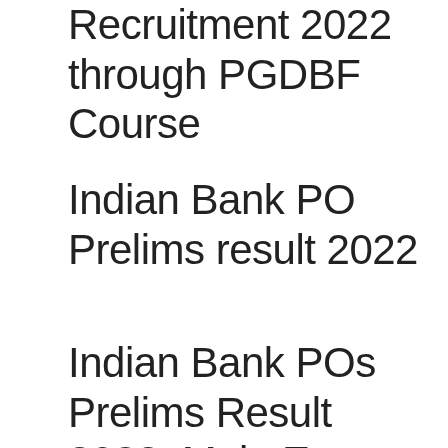Recruitment 2022 through PGDBF Course
Indian Bank PO Prelims result 2022
Indian Bank POs Prelims Result 2022, Main Exam date